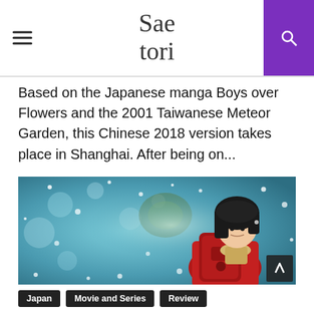Saetori
Based on the Japanese manga Boys over Flowers and the 2001 Taiwanese Meteor Garden, this Chinese 2018 version takes place in Shanghai. After being on...
[Figure (photo): A young woman with short black hair wearing a red coat and carrying a red backpack, looking over her shoulder in a snowy outdoor scene with blurred teal/green bokeh background and snowflakes.]
Japan
Movie and Series
Review